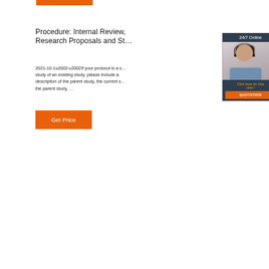[Figure (other): Orange rectangle bar at top of page]
Procedure: Internal Review, Research Proposals and St…
2021-10-1u2002·u2002If your protocol is a study of an existing study, please include a description of the parent study, the current s… the parent study, …
[Figure (photo): Chat widget with 24/7 Online label, photo of woman with headset, Click here for free chat! text, and QUOTATION button]
Get Price